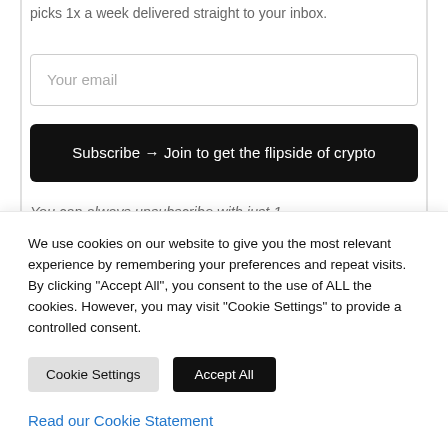picks 1x a week delivered straight to your inbox.
Your email
Subscribe → Join to get the flipside of crypto
You can always unsubscribe with just 1
We use cookies on our website to give you the most relevant experience by remembering your preferences and repeat visits. By clicking "Accept All", you consent to the use of ALL the cookies. However, you may visit "Cookie Settings" to provide a controlled consent.
Cookie Settings
Accept All
Read our Cookie Statement